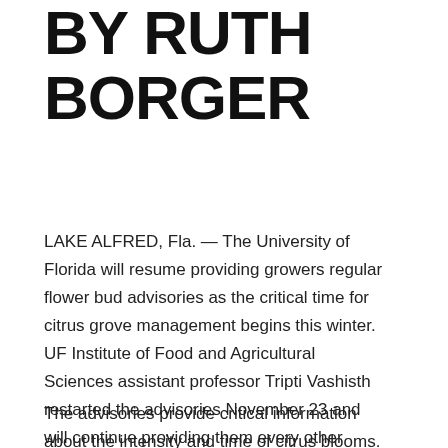BY RUTH BORGER
LAKE ALFRED, Fla. — The University of Florida will resume providing growers regular flower bud advisories as the critical time for citrus grove management begins this winter. UF Institute of Food and Agricultural Sciences assistant professor Tripti Vashisth restarted the advisories November 23 and will continue providing them every other week through the spring.
The advisories provide critical information about the intensity and time of citrus blooms. Growers use this